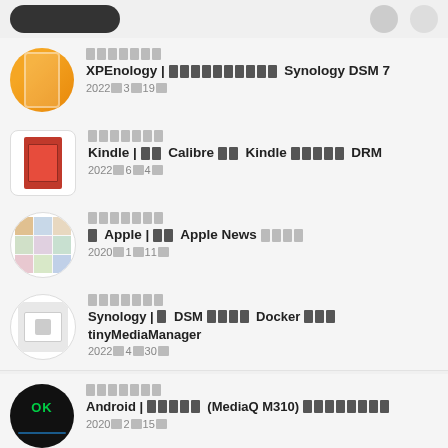[Figure (screenshot): Top navigation bar with pill-shaped button and two circular icons]
XPEnology | ░░░░░░░░░░░ Synology DSM 7 — 2022░3░19░
Kindle | ░░ Calibre ░░░ Kindle ░░░░░ DRM — 2022░6░4░
░ Apple | ░░ Apple News ░░░░ — 2020░1░11░
Synology | ░ DSM ░░░░ Docker ░░░ tinyMediaManager — 2022░4░30░
Android | ░░░░░ (MediaQ M310) ░░░░░░░░ — 2020░2░15░